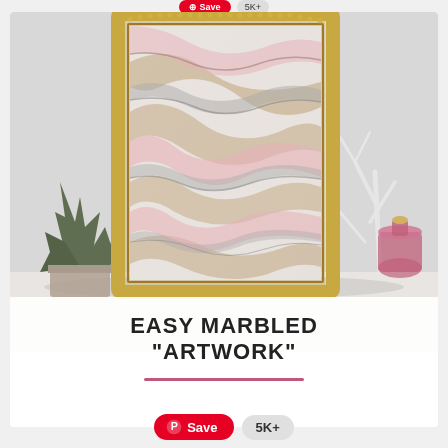[Figure (photo): A framed marbled abstract artwork in pink, grey, and tan tones hanging on a light grey wall, with a succulent plant on the left and a white decorative branch and pink glass bottle on the right. The frame is ornate gold. Text overlay reads EASY MARBLED "ARTWORK" with a pink horizontal line beneath.]
EASY MARBLED "ARTWORK"